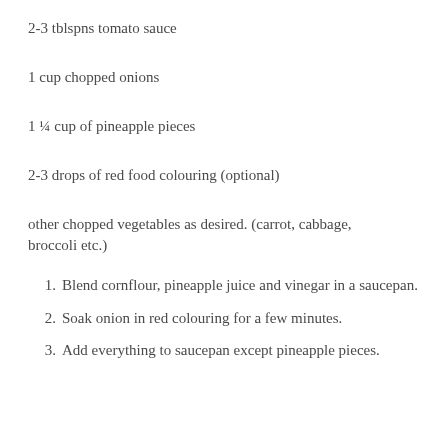2-3 tblspns tomato sauce
1 cup chopped onions
1 ¼ cup of pineapple pieces
2-3 drops of red food colouring (optional)
other chopped vegetables as desired. (carrot, cabbage, broccoli etc.)
1. Blend cornflour, pineapple juice and vinegar in a saucepan.
2. Soak onion in red colouring for a few minutes.
3. Add everything to saucepan except pineapple pieces.